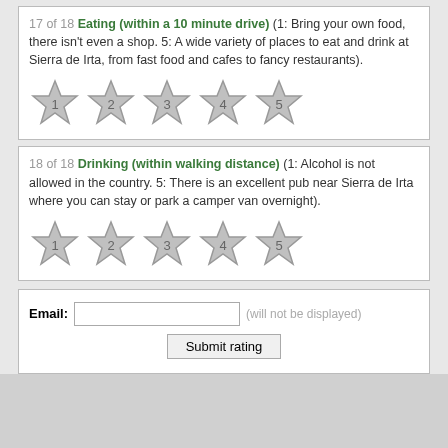17 of 18 Eating (within a 10 minute drive) (1: Bring your own food, there isn't even a shop. 5: A wide variety of places to eat and drink at Sierra de Irta, from fast food and cafes to fancy restaurants).
[Figure (other): Five star rating icons numbered 1 through 5, all unselected (gray)]
18 of 18 Drinking (within walking distance) (1: Alcohol is not allowed in the country. 5: There is an excellent pub near Sierra de Irta where you can stay or park a camper van overnight).
[Figure (other): Five star rating icons numbered 1 through 5, all unselected (gray)]
Email: [input field] (will not be displayed)
Submit rating